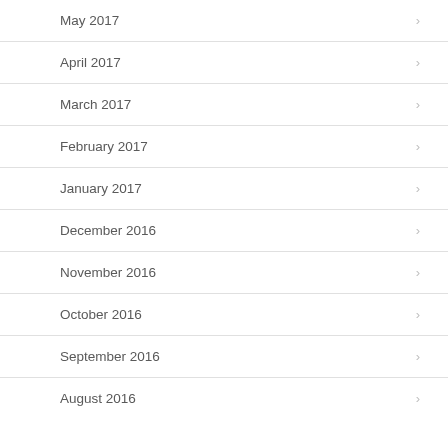May 2017
April 2017
March 2017
February 2017
January 2017
December 2016
November 2016
October 2016
September 2016
August 2016